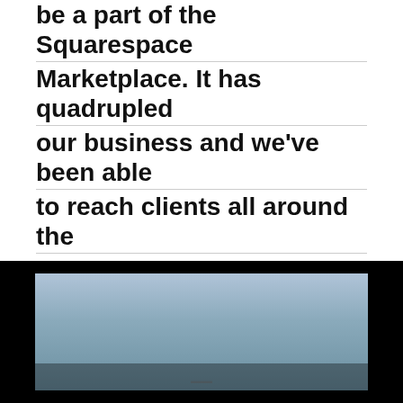be a part of the Squarespace Marketplace. It has quadrupled our business and we've been able to reach clients all around the world, which would be really hard without having 99designs and Squarespace Marketplace to advertise and to collaborate with.
- Squarespace Expert, Visuable
[Figure (screenshot): Screenshot of a laptop/computer screen showing a sky background, displayed against a black background]